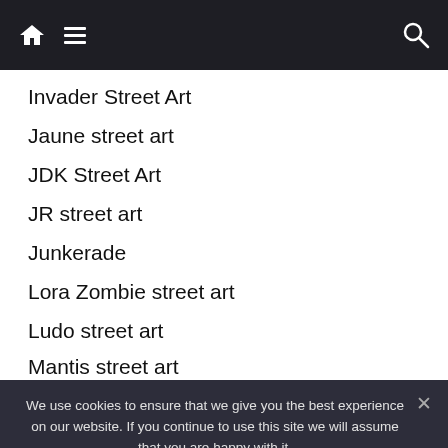Navigation bar with home icon, hamburger menu, and search icon
Invader Street Art
Jaune street art
JDK Street Art
JR street art
Junkerade
Lora Zombie street art
Ludo street art
Mantis street art
We use cookies to ensure that we give you the best experience on our website. If you continue to use this site we will assume that you are happy with it.
Ok